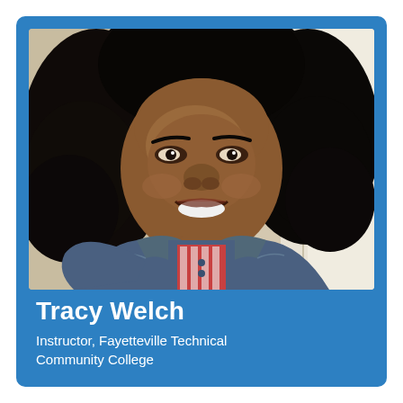[Figure (photo): Headshot photo of Tracy Welch, a smiling woman with curly black hair, wearing a denim jacket over a red and white patterned top with a gold necklace, photographed in a bright indoor setting.]
Tracy Welch
Instructor, Fayetteville Technical Community College